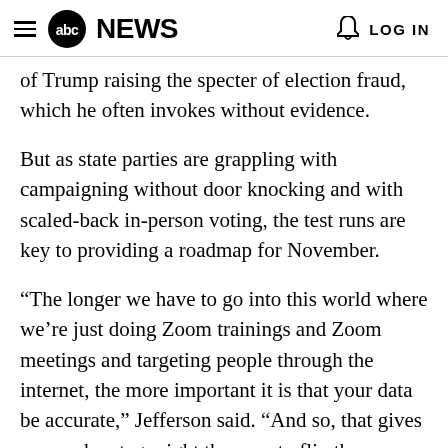abc NEWS  LOG IN
of Trump raising the specter of election fraud, which he often invokes without evidence.
But as state parties are grappling with campaigning without door knocking and with scaled-back in-person voting, the test runs are key to providing a roadmap for November.
“The longer we have to go into this world where we’re just doing Zoom trainings and Zoom meetings and targeting people through the internet, the more important it is that your data be accurate,” Jefferson said. “And so, that gives us an advantage right there … to flip the switch” to a non-traditional campaign.